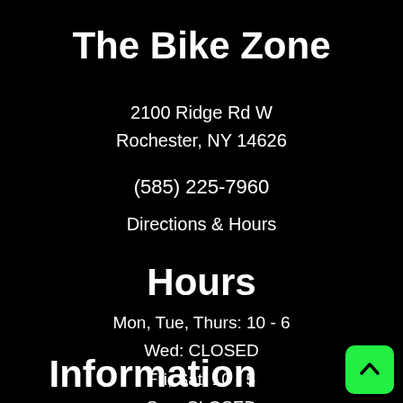The Bike Zone
2100 Ridge Rd W
Rochester, NY 14626
(585) 225-7960
Directions & Hours
Hours
Mon, Tue, Thurs: 10 - 6
Wed: CLOSED
Fri, Sat: 10 - 5
Sun: CLOSED
Information